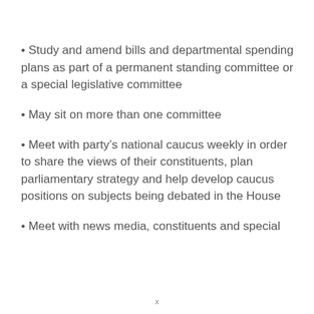Study and amend bills and departmental spending plans as part of a permanent standing committee or a special legislative committee
May sit on more than one committee
Meet with party’s national caucus weekly in order to share the views of their constituents, plan parliamentary strategy and help develop caucus positions on subjects being debated in the House
Meet with news media, constituents and special
x